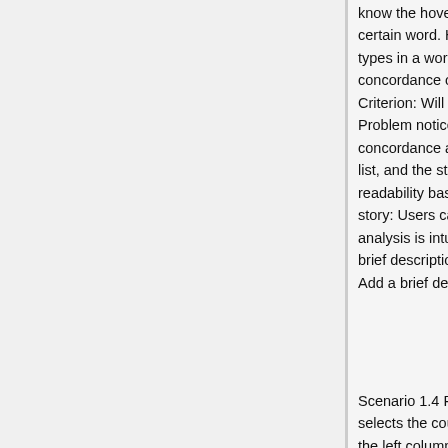know the hovering function for viewing the frequency of a certain word. He clicks "concordance" in the drop list. He types in a word to find and the context length, then the concordance of the word shows up. Failure story: Criterion: Will the user try to achieve the right effect? Problem noticed.Users may not know what is concordance analysis. He clicks "readability" in the drop list, and the statistic and the average grade of the readability based on different formula show up. Success story: Users can find the button easily and the result of analysis is intuitive. Recommendations: Action 4. Add a brief description of this function as a floating text. Action 5. Add a brief description of concordance as a floating text.
Scenario 1.4 Post comments Actions: He login GWrit, and selects the course he is in, and then clicks a project title in the left column, then clicks "view other submissions" . Failure story: Criteria: Will the user associate the correct action with the effect one is trying to achieve?